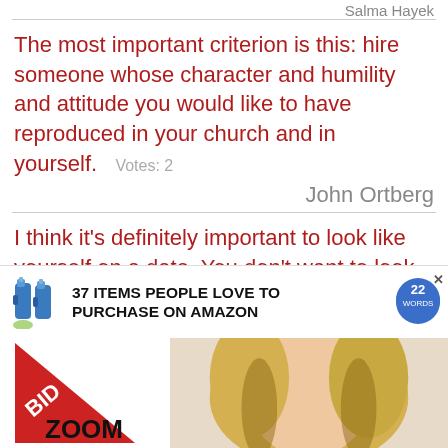Salma Hayek
The most important criterion is this: hire someone whose character and humility and attitude you would like to have reproduced in your church and in yourself. Votes: 2
John Ortberg
I think it's definitely important to look like yourself on a date. You don't want to look like someone else with too much makeup or too much hair. Votes: 2
Lauren Conrad
[Figure (screenshot): Advertisement banner: '37 ITEMS PEOPLE LOVE TO PURCHASE ON AMAZON' with product bottles, 22 Words badge, CLOSE button, BID triangle overlay, ZOOM text, and a woman's photo]